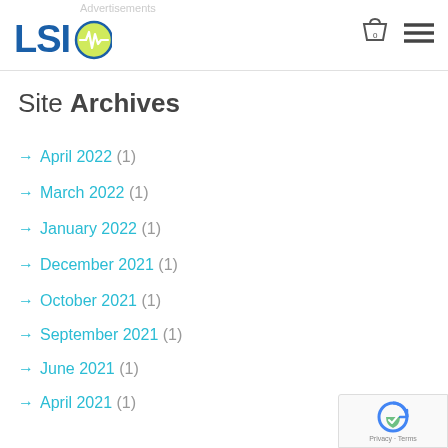LSI [logo] — navigation header with cart and menu icons
Site Archives
→ April 2022 (1)
→ March 2022 (1)
→ January 2022 (1)
→ December 2021 (1)
→ October 2021 (1)
→ September 2021 (1)
→ June 2021 (1)
→ April 2021 (1)
→ March 2021 (1)
→ February 2021 (1)